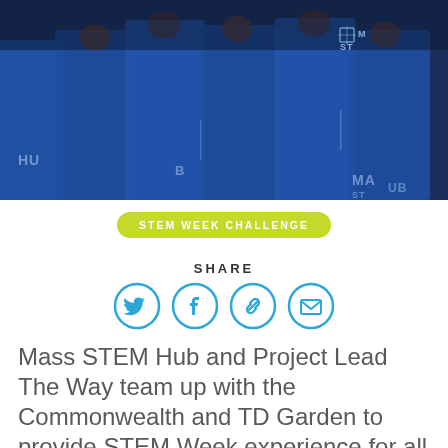[Figure (photo): Group of people in blue uniforms/suits standing in front of a Mass STEM Hub branded backdrop]
STEM WEEK CHALLENGE
SHARE
[Figure (infographic): Four social share icons: Twitter bird, Facebook f, chain/link, envelope/email — all in blue circle outlines]
Mass STEM Hub and Project Lead The Way team up with the Commonwealth and TD Garden to provide STEM Week experience for all K-12 schools